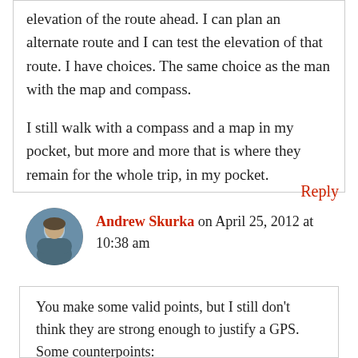elevation of the route ahead. I can plan an alternate route and I can test the elevation of that route. I have choices. The same choice as the man with the map and compass.
I still walk with a compass and a map in my pocket, but more and more that is where they remain for the whole trip, in my pocket.
Reply
Andrew Skurka on April 25, 2012 at 10:38 am
You make some valid points, but I still don't think they are strong enough to justify a GPS. Some counterpoints: